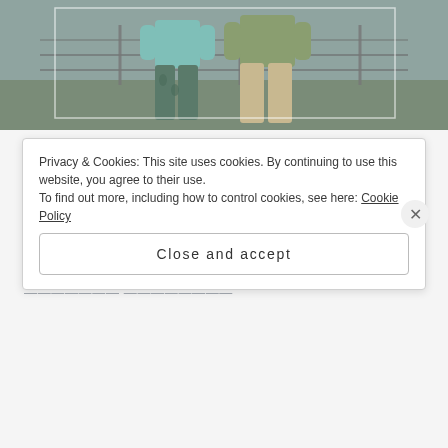[Figure (photo): Two children/people seen from behind, standing at a wire fence, one wearing a teal shirt with patterned pants, another in an olive shirt with khaki pants]
The War Inside Us (and The Lessons We Learn While Doing Battle)
JANUARY 25, 2021
Privacy & Cookies: This site uses cookies. By continuing to use this website, you agree to their use.
To find out more, including how to control cookies, see here: Cookie Policy
Close and accept